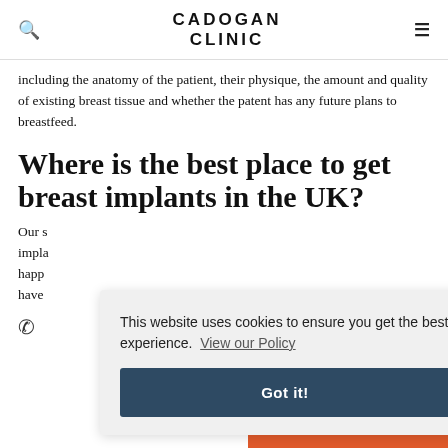CADOGAN CLINIC
including the anatomy of the patient, their physique, the amount and quality of existing breast tissue and whether the patent has any future plans to breastfeed.
Where is the best place to get breast implants in the UK?
Our s... impla... happ... have...
This website uses cookies to ensure you get the best experience. View our Policy
Got it!